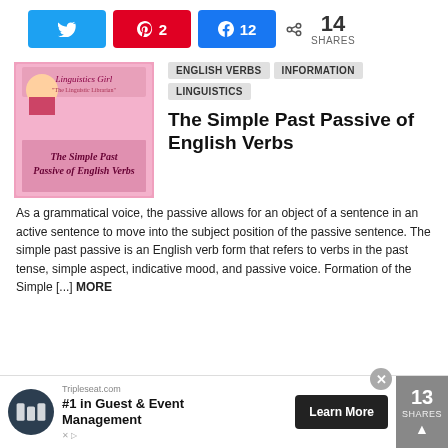[Figure (infographic): Social share buttons: Twitter, Pinterest (2), Facebook (12), and share count 14 SHARES]
[Figure (illustration): Linguistics Girl blog thumbnail: pink background with cartoon girl and text 'The Simple Past Passive of English Verbs']
ENGLISH VERBS
INFORMATION
LINGUISTICS
The Simple Past Passive of English Verbs
As a grammatical voice, the passive allows for an object of a sentence in an active sentence to move into the subject position of the passive sentence. The simple past passive is an English verb form that refers to verbs in the past tense, simple aspect, indicative mood, and passive voice. Formation of the Simple [...] MORE
[Figure (infographic): Advertisement: Tripleseat.com #1 in Guest & Event Management with Learn More button, and 13 SHARES counter with scroll-to-top button]